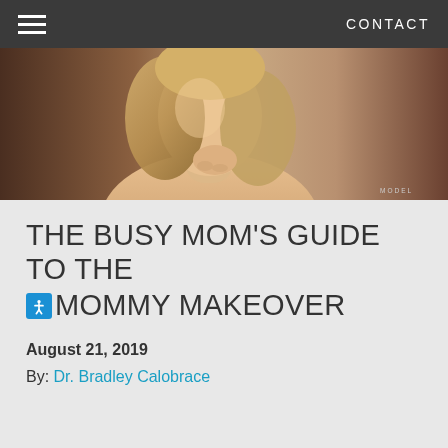CONTACT
[Figure (photo): Hero image of a woman with blonde hair posing with her chin resting on her hand against a warm neutral background. Label reads MODEL in bottom right corner.]
THE BUSY MOM'S GUIDE TO THE MOMMY MAKEOVER
August 21, 2019
By: Dr. Bradley Calobrace